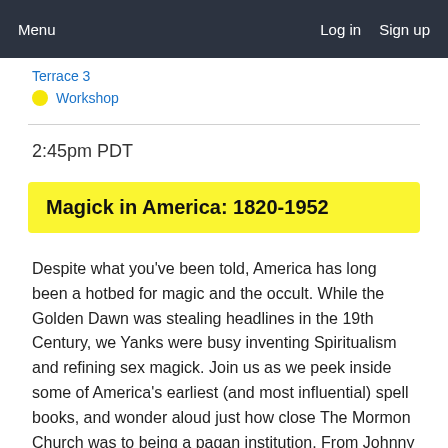Menu   Log in   Sign up
Terrace 3
Workshop
2:45pm PDT
Magick in America: 1820-1952
Despite what you've been told, America has long been a hotbed for magic and the occult. While the Golden Dawn was stealing headlines in the 19th Century, we Yanks were busy inventing Spiritualism and refining sex magick. Join us as we peek inside some of America's earliest (and most influential) spell books, and wonder aloud just how close The Mormon Church was to being a pagan institution. From Johnny Appleseed to Witches in Arkansas it's a whirlwind tour of America's occult legacy; a legacy that's